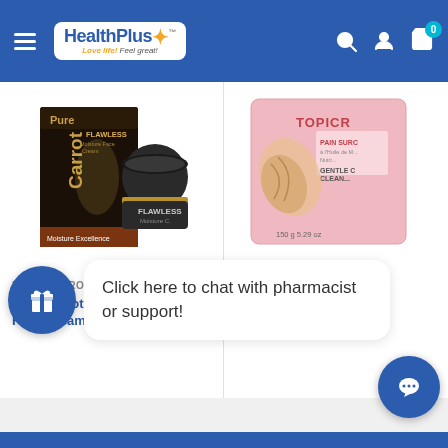[Figure (screenshot): HealthPlus pharmacy website header with logo, hamburger menu, search, account, and cart icons on blue background]
[Figure (photo): Pure Carrot Flawless Moisture Face Cream product — dark box with golden silhouette and cream jar]
PURE CARROT
Pure Carrot Flawless Moisture Face Cream
[Figure (photo): Topicrem Ultra-Rich product in pink packaging — cleansing bar]
TOPICREM
Topicrem Ultra-Rich
₦2,500.00
Click here to chat with pharmacist or support!